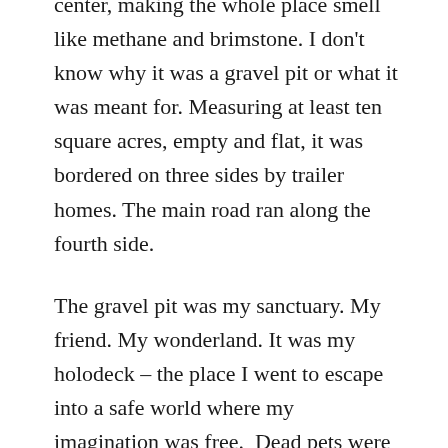center, making the whole place smell like methane and brimstone. I don't know why it was a gravel pit or what it was meant for. Measuring at least ten square acres, empty and flat, it was bordered on three sides by trailer homes. The main road ran along the fourth side.

The gravel pit was my sanctuary. My friend. My wonderland. It was my holodeck – the place I went to escape into a safe world where my imagination was free.  Dead pets were buried there. Dead washers and ranges, too. I would squat in the middle, digging up pillowcases full